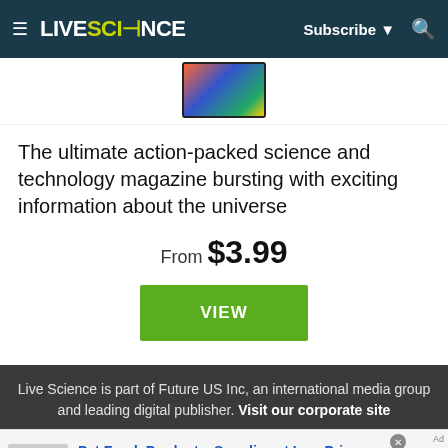LIVE SCIENCE | Subscribe | Search
[Figure (photo): Magazine tablet/device thumbnail showing colorful cover images]
The ultimate action-packed science and technology magazine bursting with exciting information about the universe
From $3.99
VIEW
Live Science is part of Future US Inc, an international media group and leading digital publisher. Visit our corporate site
Pet Food, Products, Supplies at Low Prices - Pay the lowest prices on pet supplies at Chewy.com chewy.com